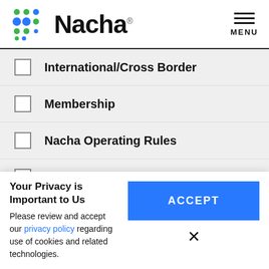[Figure (logo): Nacha logo with colorful dot grid and bold Nacha text]
International/Cross Border
Membership
Nacha Operating Rules
Operations Bulletin
Opt-in Programs (checked/selected, green checkbox)
Your Privacy is Important to Us
Please review and accept our privacy policy regarding use of cookies and related technologies.
ACCEPT